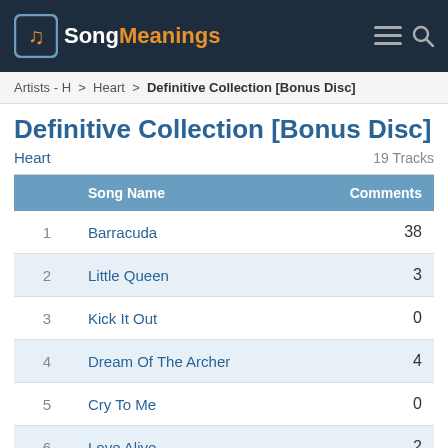SongMeanings
Artists - H > Heart > Definitive Collection [Bonus Disc]
Definitive Collection [Bonus Disc]
Heart   19 Tracks
|  | Song Name | Comments |
| --- | --- | --- |
| 1 | Barracuda | 38 |
| 2 | Little Queen | 3 |
| 3 | Kick It Out | 0 |
| 4 | Dream Of The Archer | 4 |
| 5 | Cry To Me | 0 |
| 6 | Love Alive | 2 |
| 7 | Dog And Butterfly | 26 |